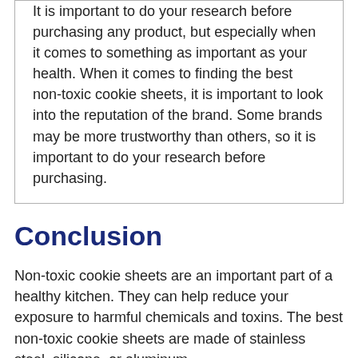It is important to do your research before purchasing any product, but especially when it comes to something as important as your health. When it comes to finding the best non-toxic cookie sheets, it is important to look into the reputation of the brand. Some brands may be more trustworthy than others, so it is important to do your research before purchasing.
Conclusion
Non-toxic cookie sheets are an important part of a healthy kitchen. They can help reduce your exposure to harmful chemicals and toxins. The best non-toxic cookie sheets are made of stainless steel, silicone, or aluminum.